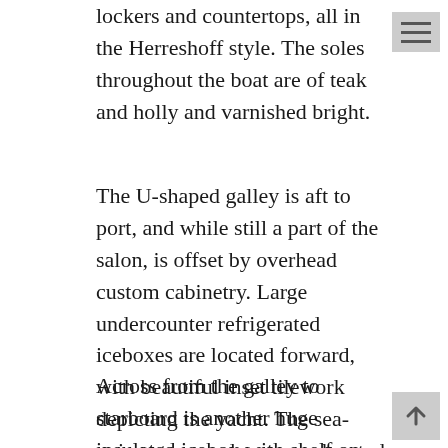lockers and countertops, all in the Herreshoff style. The soles throughout the boat are of teak and holly and varnished bright.
The U-shaped galley is aft to port, and while still a part of the salon, is offset by overhead custom cabinetry. Large undercounter refrigerated iceboxes are located forward, with beautiful inset tilework depicting the yacht. The sea-going stove and oven are located outboard and the twin sinks are aft. There is plenty of counter space and storage in this working galley.
Across from the galley to starboard is another huge insulated icebox with shelf on top. A good-sized hanging locker is just forward, also with storage on top and large shelf above.